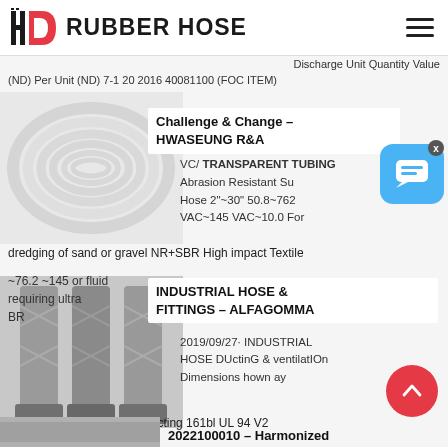HD RUBBER HOSE
Discharge Unit Quantity Value
(ND) Per Unit (ND) 7-1 20 2016 40081100 (FOC ITEM)
[Figure (photo): Coiled transparent flexible PVC tubing/hose on a spool]
[Figure (infographic): Challenge & Change - HWASEUNG R&A popup overlay]
VC/ TRANSPARENT TUBING
Abrasion Resistant Su Hose 2"~30" 50.8~762 VAC~145 VAC~10.0 For dredging of sand or gravel NR+SBR High impact Textile
~76.2 ~145 or fluid requiring ultra BR
[Figure (infographic): INDUSTRIAL HOSE & FITTINGS - ALFAGOMMA popup overlay]
[Figure (photo): Braided flexible metal hoses with end fittings]
2019/09/27· INDUSTRIAL HOSE DUctinG & ventilatIOn Dimensions hown ay hanged ithout rior tice Air ducting 161bl UL 94 V2
2022100010 - Harmonized